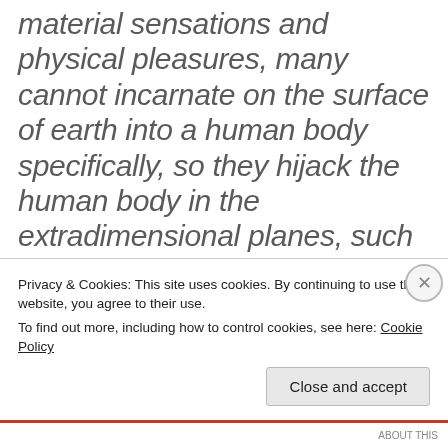material sensations and physical pleasures, many cannot incarnate on the surface of earth into a human body specifically, so they hijack the human body in the extradimensional planes, such as from in the astral layers, as a substitute body that they can exert control over. A Christos being never will take over another's body or attempt to assert control over any person to
Privacy & Cookies: This site uses cookies. By continuing to use this website, you agree to their use. To find out more, including how to control cookies, see here: Cookie Policy